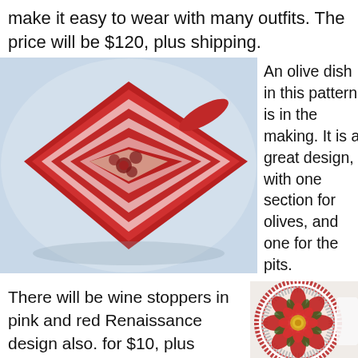make it easy to wear with many outfits. The price will be $120, plus shipping.
[Figure (photo): A red and white striped silk scarf with floral pattern, folded and arranged on a light blue background.]
An olive dish in this pattern is in the making. It is a great design, with one section for olives, and one for the pits.
There will be wine stoppers in pink and red Renaissance design also. for $10, plus shipping.
[Figure (photo): A decorative plate with a red mandala-style floral pattern with green and yellow accents on a white background with dotted border.]